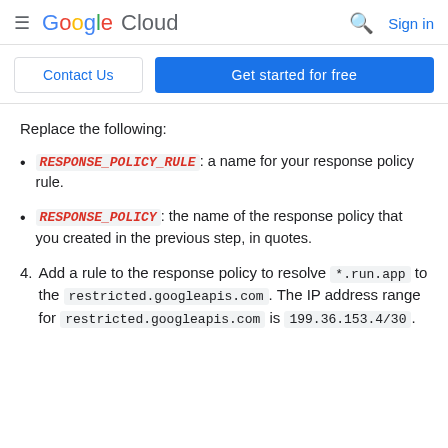Google Cloud — Sign in
Contact Us | Get started for free
Replace the following:
RESPONSE_POLICY_RULE: a name for your response policy rule.
RESPONSE_POLICY: the name of the response policy that you created in the previous step, in quotes.
4. Add a rule to the response policy to resolve *.run.app to the restricted.googleapis.com. The IP address range for restricted.googleapis.com is 199.36.153.4/30.